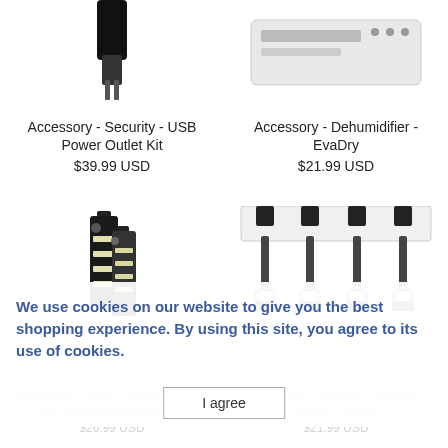[Figure (photo): Top portion of USB Power Outlet Kit accessory, cropped at top]
[Figure (photo): Top portion of EvaDry dehumidifier accessory, cropped at top]
Accessory - Security - USB Power Outlet Kit
$39.99 USD
Accessory - Dehumidifier - EvaDry
$21.99 USD
[Figure (photo): LED light strips - Brightview Light Kit, battery powered]
[Figure (photo): Handgun hangers storage accessory - 4 pack chrome metal hooks]
We use cookies on our website to give you the best shopping experience. By using this site, you agree to its use of cookies.
Accessory - Lights - Brightview Light Kit 2 Pack-battery powered
$26.99 USD
Accessory - Storage - Handgun Hanger - 4 Pack
$21.99 USD